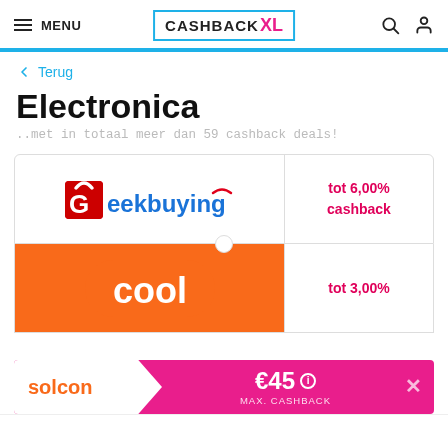MENU | CashbackXL | 🔍 👤
← Terug
Electronica
..met in totaal meer dan 59 cashback deals!
[Figure (logo): Geekbuying logo with shopping bag icon, blue and red text]
tot 6,00% cashback
[Figure (logo): Cool blue logo on orange rounded rectangle background]
tot 3,00%
solcon
€45  MAX. CASHBACK